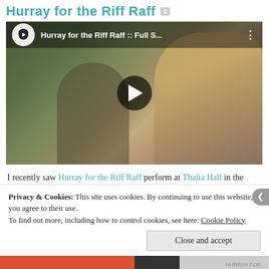Hurray for the Riff Raff
[Figure (screenshot): YouTube video thumbnail showing a woman with sunglasses being interviewed outdoors with a crowd behind her. Video title: 'Hurray for the Riff Raff :: Full S...']
I recently saw Hurray for the Riff Raff perform at Thalia Hall in the Pilsen neighborhood of Chicago and it was such a treat. I went because my friend had an extra ticket and I decided to go after
Privacy & Cookies: This site uses cookies. By continuing to use this website, you agree to their use.
To find out more, including how to control cookies, see here: Cookie Policy
Close and accept